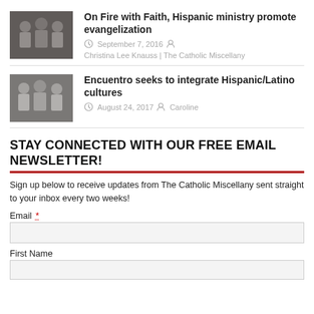[Figure (photo): Thumbnail photo of people in white clothing, appears to be a religious or ministry event]
On Fire with Faith, Hispanic ministry promote evangelization
September 7, 2016  Christina Lee Knauss | The Catholic Miscellany
[Figure (photo): Thumbnail photo of people in white robes or clothing at a religious gathering]
Encuentro seeks to integrate Hispanic/Latino cultures
August 24, 2017  Caroline
STAY CONNECTED WITH OUR FREE EMAIL NEWSLETTER!
Sign up below to receive updates from The Catholic Miscellany sent straight to your inbox every two weeks!
Email *
First Name